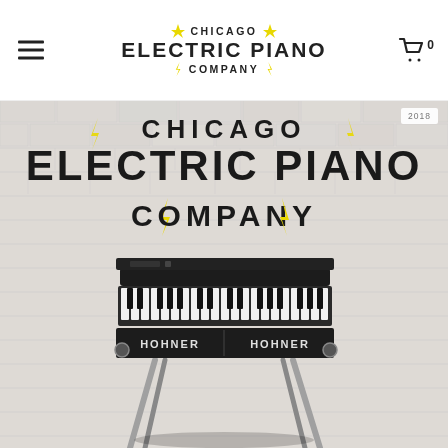Chicago Electric Piano Company
2018
[Figure (photo): A Hohner electric piano/clavinet instrument on a chrome stand, photographed against a white brick wall. Behind it, painted on the wall in large black lettering with yellow lightning bolt accents, is the text: CHICAGO ELECTRIC PIANO COMPANY.]